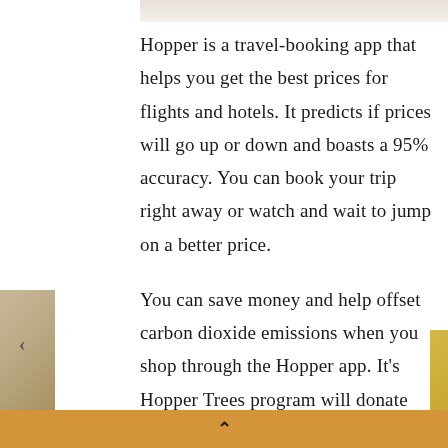[Figure (photo): Partial photo visible at top of page, appears to be a person in light-colored clothing]
Hopper is a travel-booking app that helps you get the best prices for flights and hotels. It predicts if prices will go up or down and boasts a 95% accuracy. You can book your trip right away or watch and wait to jump on a better price.
You can save money and help offset carbon dioxide emissions when you shop through the Hopper app. It's Hopper Trees program will donate funds to plant four trees for each flight and two trees for each hotel room sold.
[Figure (photo): Partial photo visible at bottom left, appears to be an interior scene]
[Figure (photo): Partial golden/yellow element visible at bottom right edge]
▲